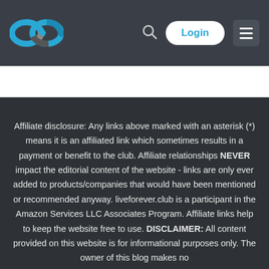[Figure (logo): liveforever.club infinity loop logo in blue and grey, with nav bar containing search icon, Login button, and hamburger menu]
Affiliate disclosure: Any links above marked with an asterisk (*) means it is an affiliated link which sometimes results in a payment or benefit to the club. Affiliate relationships NEVER impact the editorial content of the website - links are only ever added to products/companies that would have been mentioned or recommended anyway. liveforever.club is a participant in the Amazon Services LLC Associates Program. Affiliate links help to keep the website free to use. DISCLAIMER: All content provided on this website is for informational purposes only. The owner of this blog makes no